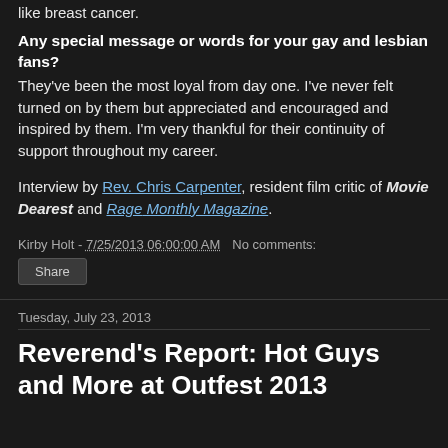like breast cancer.
Any special message or words for your gay and lesbian fans?
They've been the most loyal from day one. I've never felt turned on by them but appreciated and encouraged and inspired by them. I'm very thankful for their continuity of support throughout my career.
Interview by Rev. Chris Carpenter, resident film critic of Movie Dearest and Rage Monthly Magazine.
Kirby Holt - 7/25/2013 06:00:00 AM   No comments:
Share
Tuesday, July 23, 2013
Reverend's Report: Hot Guys and More at Outfest 2013